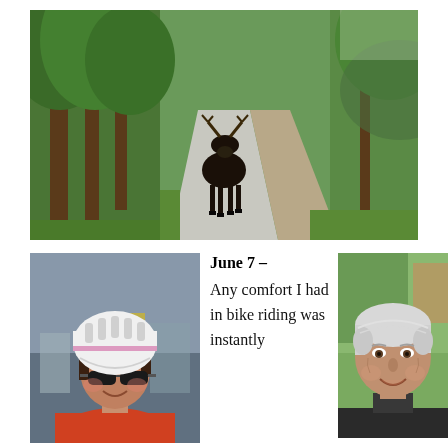[Figure (photo): A moose standing on a paved bike path surrounded by lush green trees and vegetation, facing the camera. The path curves to the right in the background.]
[Figure (photo): Close-up portrait of a woman wearing a white bicycle helmet, sunglasses, and a red jacket. She is smiling. Overcast sky and industrial background visible.]
June 7 – Any comfort I had in bike riding was instantly
[Figure (photo): Portrait of an older man with white/gray hair, smiling warmly. He is wearing a dark jacket. Green natural background.]